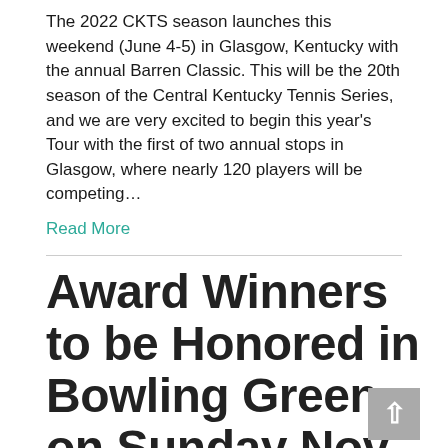The 2022 CKTS season launches this weekend (June 4-5) in Glasgow, Kentucky with the annual Barren Classic. This will be the 20th season of the Central Kentucky Tennis Series, and we are very excited to begin this year's Tour with the first of two annual stops in Glasgow, where nearly 120 players will be competing…
Read More
Award Winners to be Honored in Bowling Green on Sunday Nov. 14 at Buchanon Indoor Facility
By CKTS Admin | November 8, 2021